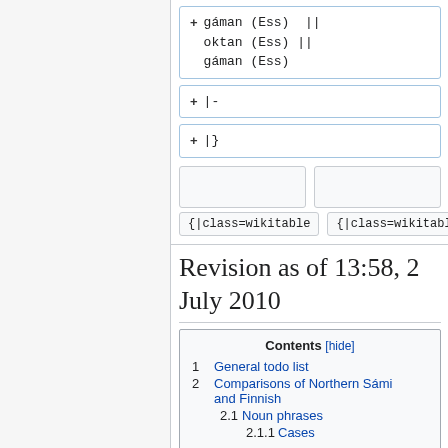+ gáman (Ess) || oktan (Ess) || gáman (Ess)
+ |-
+ |}
{|class=wikitable    {|class=wikitable
Revision as of 13:58, 2 July 2010
Contents [hide]
1 General todo list
2 Comparisons of Northern Sámi and Finnish
  2.1 Noun phrases
    2.1.1 Cases